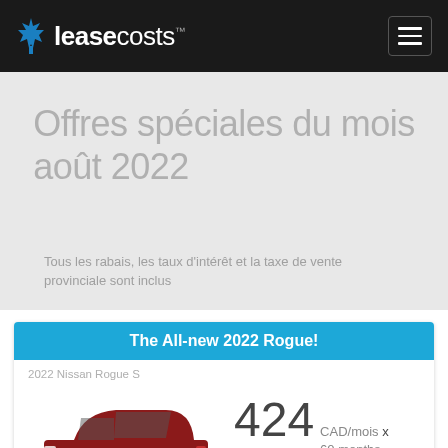leasecosts™
Offres spéciales du mois août 2022
Tous les rabais, les taux d'intérêt et la taxe de vente provinciale sont inclus
The All-new 2022 Rogue!
2022 Nissan Rogue S
[Figure (photo): Red 2022 Nissan Rogue S SUV]
424 CAD/mois x 60 months